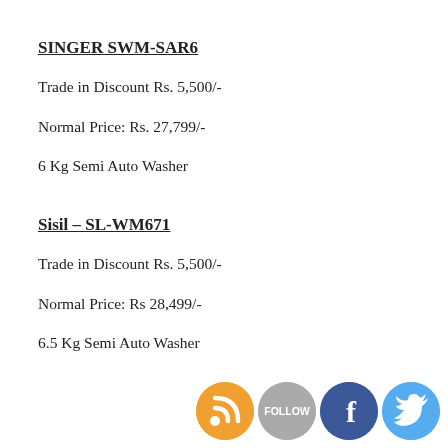SINGER SWM-SAR6
Trade in Discount Rs. 5,500/-
Normal Price: Rs. 27,799/-
6 Kg Semi Auto Washer
Sisil – SL-WM671
Trade in Discount Rs. 5,500/-
Normal Price: Rs 28,499/-
6.5 Kg Semi Auto Washer
[Figure (illustration): Social media icons: RSS feed (orange), Follow (grey), Facebook (blue), Twitter (light blue)]